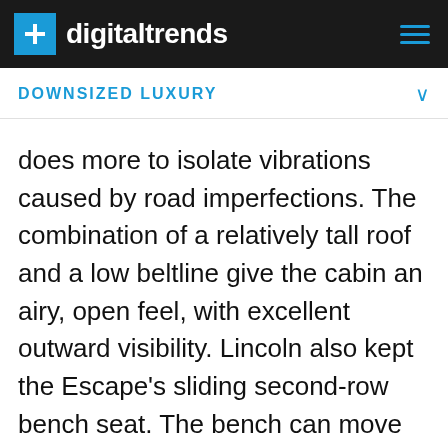digitaltrends
DOWNSIZED LUXURY
does more to isolate vibrations caused by road imperfections. The combination of a relatively tall roof and a low beltline give the cabin an airy, open feel, with excellent outward visibility. Lincoln also kept the Escape's sliding second-row bench seat. The bench can move fore and aft up to 6 inches to increase passenger legroom or cargo space, as well as recline.